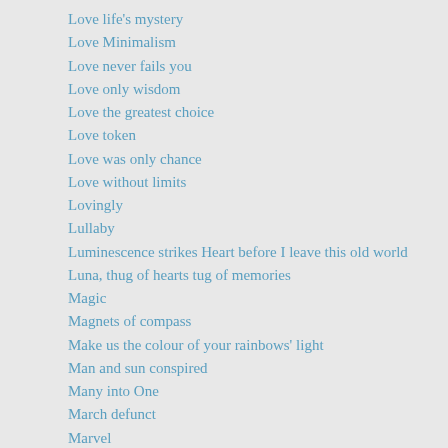Love life's mystery
Love Minimalism
Love never fails you
Love only wisdom
Love the greatest choice
Love token
Love was only chance
Love without limits
Lovingly
Lullaby
Luminescence strikes Heart before I leave this old world
Luna, thug of hearts tug of memories
Magic
Magnets of compass
Make us the colour of your rainbows' light
Man and sun conspired
Many into One
March defunct
Marvel